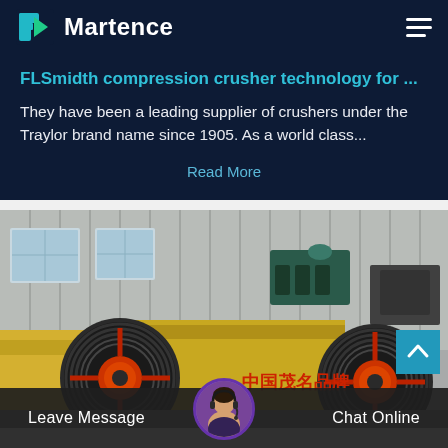Martence
FLSmidth compression crusher technology for ...
They have been a leading supplier of crushers under the Traylor brand name since 1905. As a world class...
Read More
[Figure (photo): Industrial crusher machinery with large yellow flywheels and black belt drive, Chinese text '中国茂名品牌' on the machine, inside a factory building.]
Leave Message
Chat Online